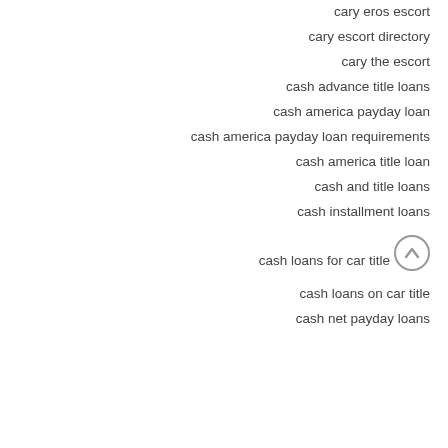cary eros escort
cary escort directory
cary the escort
cash advance title loans
cash america payday loan
cash america payday loan requirements
cash america title loan
cash and title loans
cash installment loans
cash loans for car title
cash loans on car title
cash net payday loans